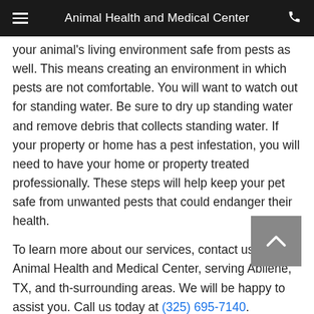Animal Health and Medical Center
your animal's living environment safe from pests as well. This means creating an environment in which pests are not comfortable. You will want to watch out for standing water. Be sure to dry up standing water and remove debris that collects standing water. If your property or home has a pest infestation, you will need to have your home or property treated professionally. These steps will help keep your pet safe from unwanted pests that could endanger their health.
To learn more about our services, contact us at Animal Health and Medical Center, serving Abilene, TX, and th - surrounding areas. We will be happy to assist you. Call us today at (325) 695-7140.